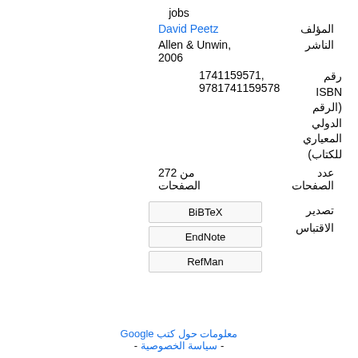jobs
| المؤلف | David Peetz |
| الناشر | Allen & Unwin, 2006 |
| رقم ISBN (الرقم الدولي المعياري للكتاب) | 1741159571, 9781741159578 |
| عدد الصفحات | 272 من الصفحات |
تصدير الاقتباس: BiBTeX, EndNote, RefMan
معلومات حول كتب Google - سياسة الخصوصية -